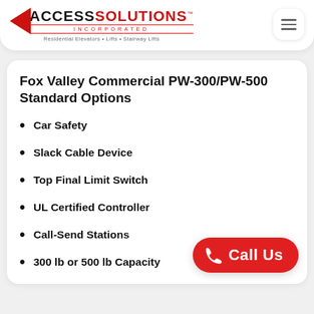[Figure (logo): Access Solutions Incorporated logo with red triangle, red SOLUTIONS text, and tagline 'Residential Elevators • Lifts • Stairway Lifts']
Fox Valley Commercial PW-300/PW-500 Standard Options
Car Safety
Slack Cable Device
Top Final Limit Switch
UL Certified Controller
Call-Send Stations
300 lb or 500 lb Capacity